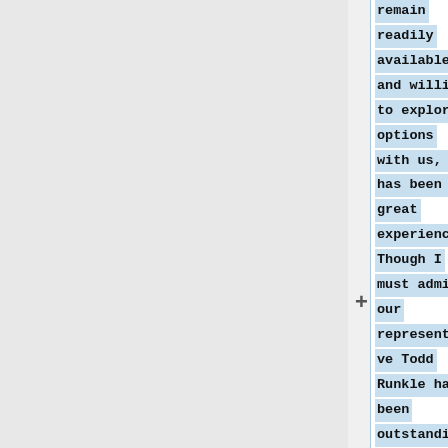remain readily available and willing to explore options with us, it has been a great experience. Though I must admit our representative Todd Runkle has been outstanding to work with since day one.